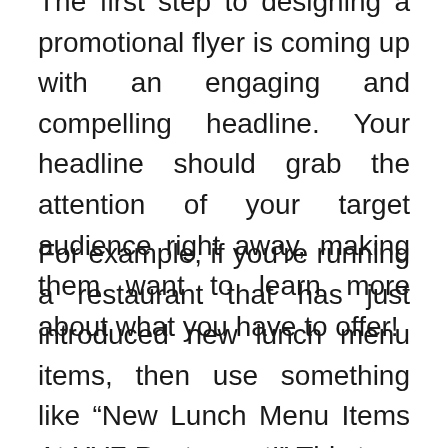The first step to designing a promotional flyer is coming up with an engaging and compelling headline. Your headline should grab the attention of your target audience right away, making them want to learn more about what you have to offer!
For example, if you're running a restaurant that has just introduced new lunch menu items, then use something like “New Lunch Menu Items At XYZ Restaurant!” This type of promotional flyer will entice people who are already hungry or on their way there for dinner (and thus may be willing to try one). It also gives potential customers more information about what’s available in addition